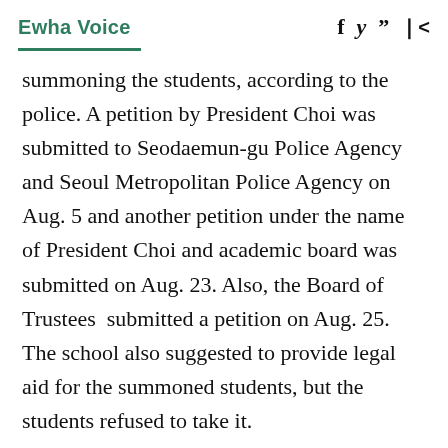Ewha Voice
summoning the students, according to the police. A petition by President Choi was submitted to Seodaemun-gu Police Agency and Seoul Metropolitan Police Agency on Aug. 5 and another petition under the name of President Choi and academic board was submitted on Aug. 23. Also, the Board of Trustees  submitted a petition on Aug. 25. The school also suggested to provide legal aid for the summoned students, but the students refused to take it.
By analyzing KakaoTalk records and call logs, CCTVs as well as statements of the